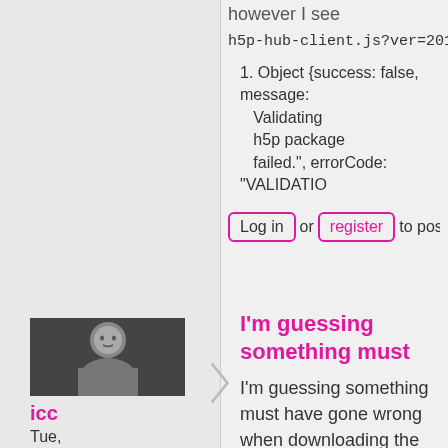however I see
h5p-hub-client.js?ver=20170524(…)
1. Object {success: false, message: "Validating h5p package failed.", errorCode: "VALIDATIO…
Log in or register to post comme…
[Figure (photo): Black and white headshot photo of a person]
icc
Tue, 06/13/2017 - 10:22
permalink
I'm guessing something must
I'm guessing something must have gone wrong when downloading the package to the server.